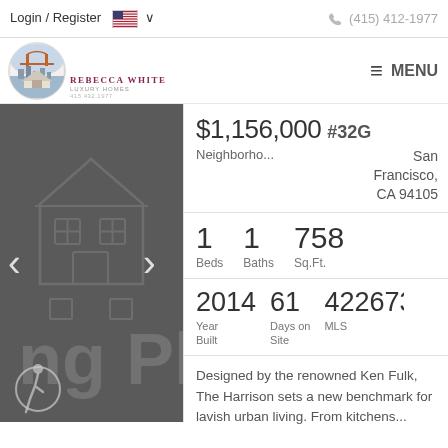Login / Register   🇺🇸 ∨   (415) 412-1977
[Figure (logo): Rebecca White luxury homes logo with Golden Gate Bridge illustration in circular badge, text REBECCA WHITE LUXURY HOMES below]
≡ MENU
[Figure (photo): Dark grey property listing photo panel with house silhouette graphic, navigation arrows < and >, and accessibility icon at bottom left]
$1,156,000 #32G Neighborho... San Francisco, CA 94105
1 Beds   1 Baths   758 Sq.Ft.
2014 Year Built   61 Days on Site   42267383 MLS
Designed by the renowned Ken Fulk, The Harrison sets a new benchmark for lavish urban living. From kitchens...